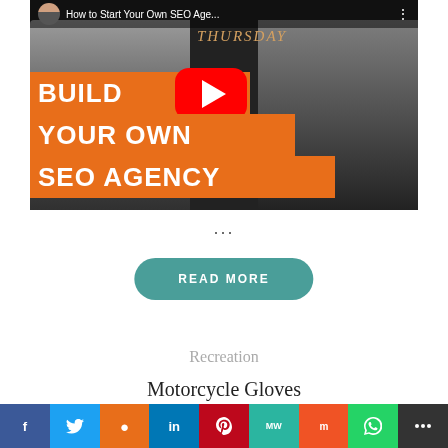[Figure (screenshot): YouTube video thumbnail showing two men with orange banners reading BUILD YOUR OWN SEO AGENCY with a YouTube play button in the center and title How to Start Your Own SEO Age...]
...
READ MORE
Recreation
Motorcycle Gloves
Social share bar: Facebook, Twitter, Reddit, LinkedIn, Pinterest, MeWe, Mix, WhatsApp, More